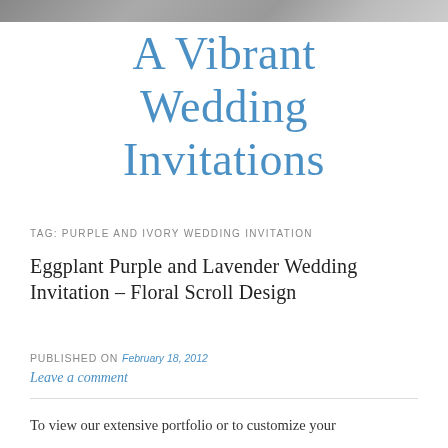[Figure (photo): Decorative image strip at top of page showing wedding invitation samples]
A Vibrant Wedding Invitations
TAG: PURPLE AND IVORY WEDDING INVITATION
Eggplant Purple and Lavender Wedding Invitation – Floral Scroll Design
PUBLISHED ON February 18, 2012
Leave a comment
To view our extensive portfolio or to customize your